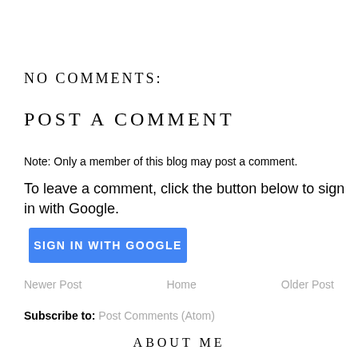NO COMMENTS:
POST A COMMENT
Note: Only a member of this blog may post a comment.
To leave a comment, click the button below to sign in with Google.
SIGN IN WITH GOOGLE
Newer Post    Home    Older Post
Subscribe to: Post Comments (Atom)
ABOUT ME